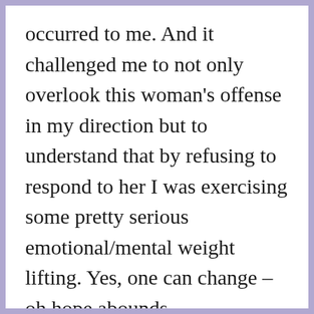occurred to me. And it challenged me to not only overlook this woman's offense in my direction but to understand that by refusing to respond to her I was exercising some pretty serious emotional/mental weight lifting. Yes, one can change – oh hope abounds.

Please don't think that I am blowing my own horn here. My struggle to keep my mouth shut was intense. But today, in retrospect, I feel better